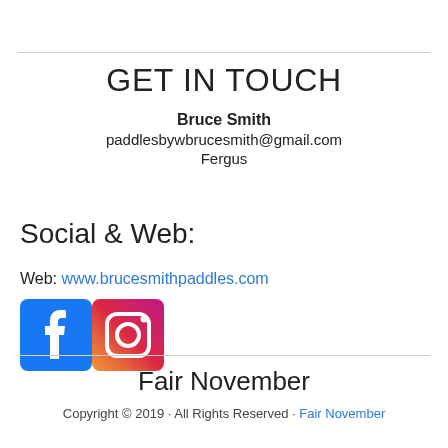GET IN TOUCH
Bruce Smith
paddlesbywbrucesmith@gmail.com
Fergus
Social & Web:
Web: www.brucesmithpaddles.com
[Figure (logo): Facebook and Instagram social media icons side by side]
Fair November
Copyright © 2019 · All Rights Reserved · Fair November